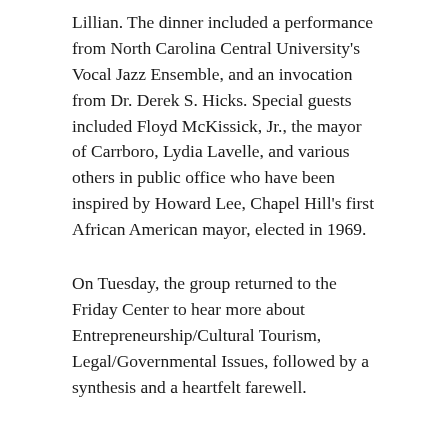Lillian. The dinner included a performance from North Carolina Central University's Vocal Jazz Ensemble, and an invocation from Dr. Derek S. Hicks. Special guests included Floyd McKissick, Jr., the mayor of Carrboro, Lydia Lavelle, and various others in public office who have been inspired by Howard Lee, Chapel Hill's first African American mayor, elected in 1969.
On Tuesday, the group returned to the Friday Center to hear more about Entrepreneurship/Cultural Tourism, Legal/Governmental Issues, followed by a synthesis and a heartfelt farewell.